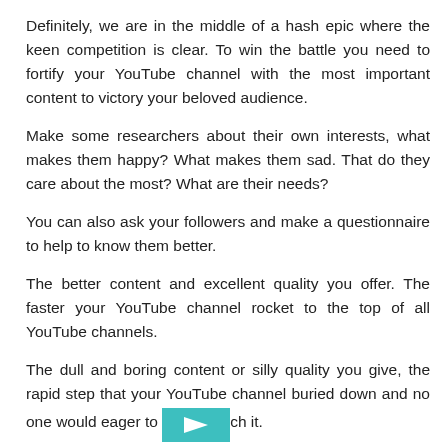Definitely, we are in the middle of a hash epic where the keen competition is clear. To win the battle you need to fortify your YouTube channel with the most important content to victory your beloved audience.
Make some researchers about their own interests, what makes them happy? What makes them sad. That do they care about the most? What are their needs?
You can also ask your followers and make a questionnaire to help to know them better.
The better content and excellent quality you offer. The faster your YouTube channel rocket to the top of all YouTube channels.
The dull and boring content or silly quality you give, the rapid step that your YouTube channel buried down and no one would eager to watch it.